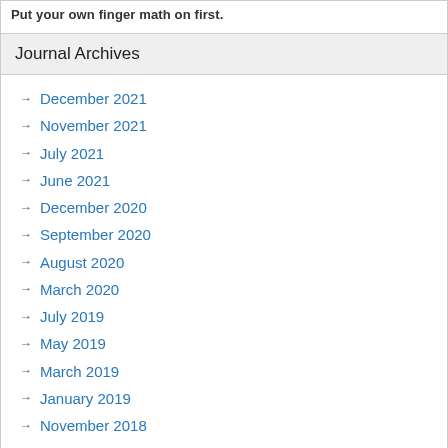Put your own finger math on first.
Journal Archives
December 2021
November 2021
July 2021
June 2021
December 2020
September 2020
August 2020
March 2020
July 2019
May 2019
March 2019
January 2019
November 2018
May 2018
April 2018